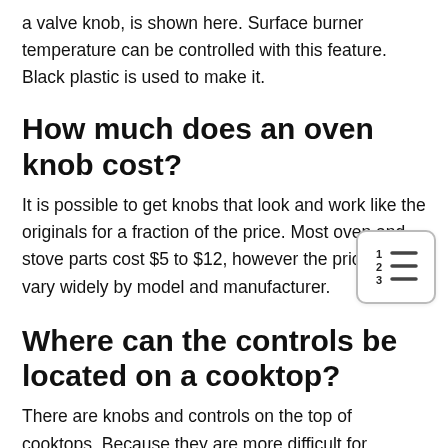a valve knob, is shown here. Surface burner temperature can be controlled with this feature. Black plastic is used to make it.
How much does an oven knob cost?
It is possible to get knobs that look and work like the originals for a fraction of the price. Most oven and stove parts cost $5 to $12, however the price can vary widely by model and manufacturer.
Where can the controls be located on a cooktop?
There are knobs and controls on the top of cooktops. Because they are more difficult for